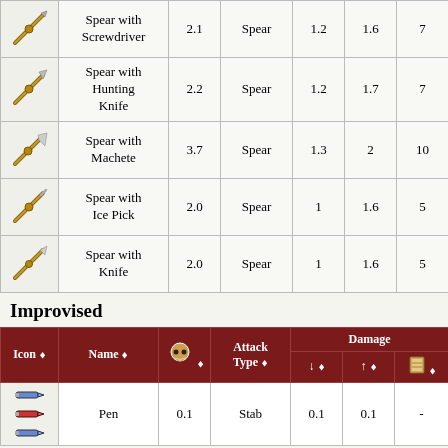| Icon | Name |  | Attack Type | ↓ | ↑ | 🚪 |
| --- | --- | --- | --- | --- | --- | --- |
| [spear icon] | Spear with Screwdriver | 2.1 | Spear | 1.2 | 1.6 | 7 |
| [spear icon] | Spear with Hunting Knife | 2.2 | Spear | 1.2 | 1.7 | 7 |
| [spear icon] | Spear with Machete | 3.7 | Spear | 1.3 | 2 | 10 |
| [spear icon] | Spear with Ice Pick | 2.0 | Spear | 1 | 1.6 | 5 |
| [spear icon] | Spear with Knife | 2.0 | Spear | 1 | 1.6 | 5 |
Improvised
| Icon | Name |  | Attack Type | ↓ | ↑ | 🚪 |
| --- | --- | --- | --- | --- | --- | --- |
| [pen icons] | Pen | 0.1 | Stab | 0.1 | 0.1 | - |